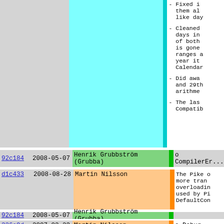| hash | date | author | bar | message |
| --- | --- | --- | --- | --- |
|  |  |  |  | - Fixed i... them al... like day... |
|  |  |  |  | - Cleaned ... days in ... of both ... is gone... ranges a... year it... Calendar... |
|  |  |  |  | - Did awa... and 29th... arithme... |
|  |  |  |  | - The las... Compatib... |
| 92c184 | 2008-05-07 | Henrik Grubbström (Grubba) |  | o CompilerEr... |
| d1c433 | 2008-08-28 | Martin Nilsson |  | The Pike o... more tran... overloadin... used by Pi... DefaultCon... |
| 92c184 | 2008-05-07 | Henrik Grubbström (Grubba) |  |  |
| 326a9d | 2007-02-23 | Martin Nilsson |  | o Debug |